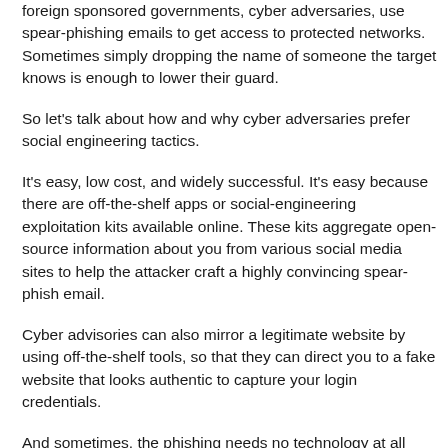foreign sponsored governments, cyber adversaries, use spear-phishing emails to get access to protected networks. Sometimes simply dropping the name of someone the target knows is enough to lower their guard.
So let's talk about how and why cyber adversaries prefer social engineering tactics.
It's easy, low cost, and widely successful. It's easy because there are off-the-shelf apps or social-engineering exploitation kits available online. These kits aggregate open-source information about you from various social media sites to help the attacker craft a highly convincing spear-phish email.
Cyber advisories can also mirror a legitimate website by using off-the-shelf tools, so that they can direct you to a fake website that looks authentic to capture your login credentials.
And sometimes, the phishing needs no technology at all beyond a well-written email, with just enough social finesse to get you to reveal sensitive information.
If you download a malicious email attachment or click on a malicious